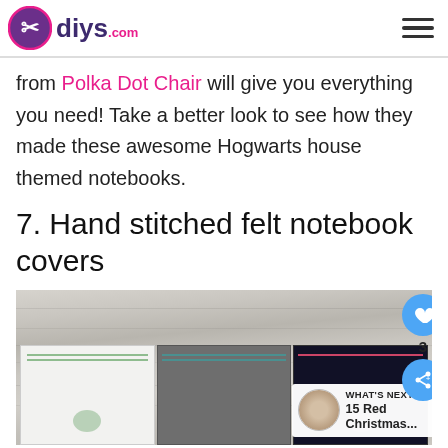diys.com
from Polka Dot Chair will give you everything you need! Take a better look to see how they made these awesome Hogwarts house themed notebooks.
7. Hand stitched felt notebook covers
[Figure (photo): Photo of hand stitched felt notebook covers on a wooden surface, showing three notebooks side by side. A 'What's Next' panel shows '15 Red Christmas...' with a thumbnail. Like and share floating action buttons are visible.]